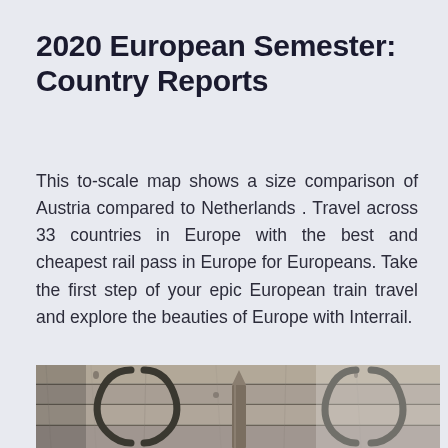2020 European Semester: Country Reports
This to-scale map shows a size comparison of Austria compared to Netherlands . Travel across 33 countries in Europe with the best and cheapest rail pass in Europe for Europeans. Take the first step of your epic European train travel and explore the beauties of Europe with Interrail.
[Figure (photo): Black and white photograph showing wooden planks and metal rings/hooks, likely part of a train car or wooden structure, partially cropped at the bottom of the page.]